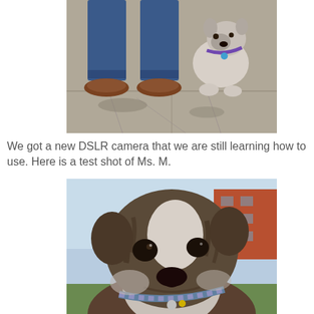[Figure (photo): Bottom half of a person standing on a sidewalk wearing jeans and brown shoes, next to a small dog (Boston Terrier/bulldog type) with a purple harness sitting on the pavement]
We got a new DSLR camera that we are still learning how to use. Here is a test shot of Ms. M.
[Figure (photo): Close-up portrait of a brindle and white bulldog/Boston Terrier mix with a floral collar, photographed outdoors with a brick building and blue sky in the background]